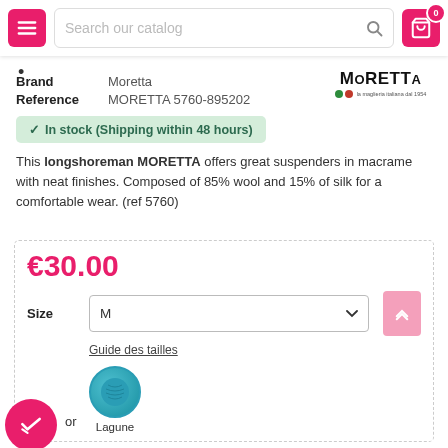Search our catalog — navigation header with menu and cart
Brand: Moretta | Reference: MORETTA 5760-895202
[Figure (logo): MORETTA brand logo with tagline]
✓ In stock (Shipping within 48 hours)
This longshoreman MORETTA offers great suspenders in macrame with neat finishes. Composed of 85% wool and 15% of silk for a comfortable wear. (ref 5760)
€30.00
Size: M — Guide des tailles
Color: Lagune